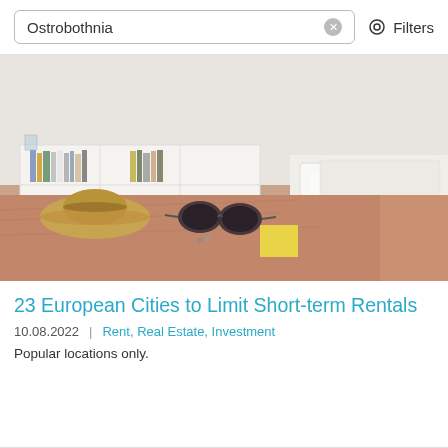Ostrobothnia | Filters
[Figure (photo): Bedroom photo with a salmon/peach colored bed with a straw hat and sunglasses on it, white shelf with books in the background, white pillow in the foreground right.]
23 European Cities to Limit Short-term Rentals
10.08.2022   |    Rent, Real Estate, Investment
Popular locations only.